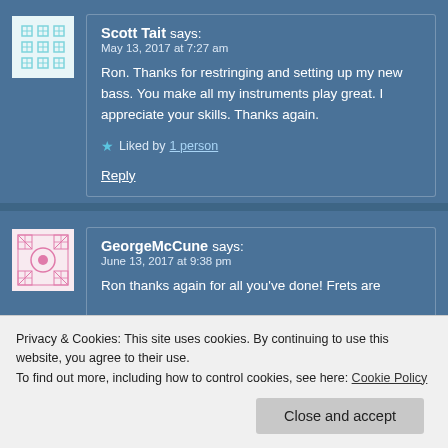Scott Tait says:
May 13, 2017 at 7:27 am
Ron. Thanks for restringing and setting up my new bass. You make all my instruments play great. I appreciate your skills. Thanks again.
★ Liked by 1 person
Reply
GeorgeMcCune says:
June 13, 2017 at 9:38 pm
Ron thanks again for all you've done! Frets are
Privacy & Cookies: This site uses cookies. By continuing to use this website, you agree to their use.
To find out more, including how to control cookies, see here: Cookie Policy
Close and accept